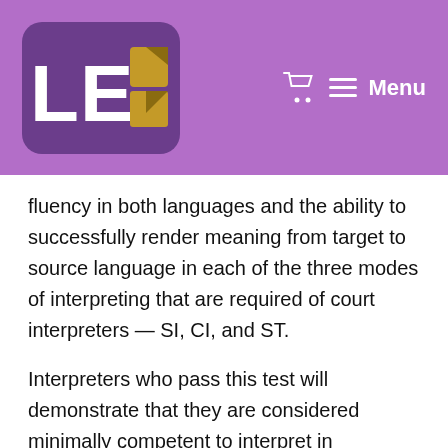LEO [logo] Menu
fluency in both languages and the ability to successfully render meaning from target to source language in each of the three modes of interpreting that are required of court interpreters — SI, CI, and ST.
Interpreters who pass this test will demonstrate that they are considered minimally competent to interpret in California's court system.
More information on the test can be found here.
While the exam may be three months away, it's